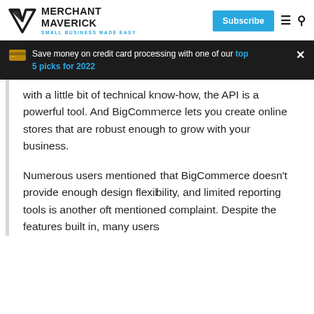MERCHANT MAVERICK — SMALL BUSINESS MADE EASY | Subscribe
Save money on credit card processing with one of our top 5 picks for 2022
with a little bit of technical know-how, the API is a powerful tool. And BigCommerce lets you create online stores that are robust enough to grow with your business.
Numerous users mentioned that BigCommerce doesn't provide enough design flexibility, and limited reporting tools is another oft mentioned complaint. Despite the features built in, many users